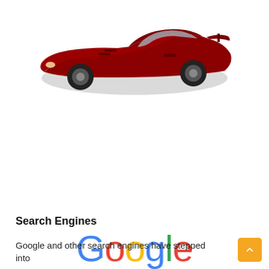[Figure (photo): Red Chevrolet Corvette sports car viewed from the side, partially cropped at the top of the page]
[Figure (logo): Google logo in multicolor text with five gold star rating icons below]
Search Engines
Google and other search engines have stepped into